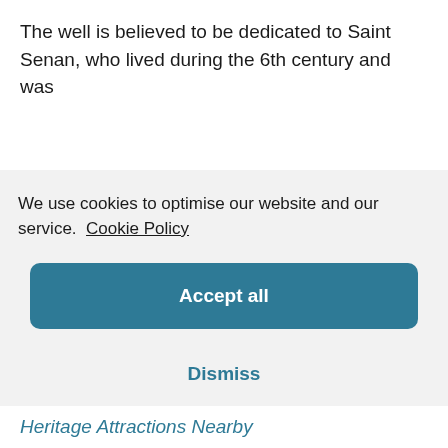The well is believed to be dedicated to Saint Senan, who lived during the 6th century and was
We use cookies to optimise our website and our service.  Cookie Policy
Accept all
Dismiss
Preferences
Heritage Attractions Nearby